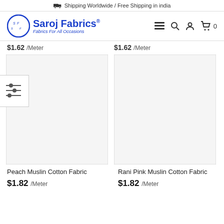Shipping Worldwide / Free Shipping in india
[Figure (logo): Saroj Fabrics logo with oval emblem and tagline 'Fabrics For All Occasions']
$1.62 /Meter (left, partially cut off)
$1.62 /Meter (right, partially cut off)
[Figure (photo): Peach Muslin Cotton Fabric product image (white/blank)]
[Figure (photo): Rani Pink Muslin Cotton Fabric product image (white/blank)]
Peach Muslin Cotton Fabric
$1.82 /Meter
Rani Pink Muslin Cotton Fabric
$1.82 /Meter